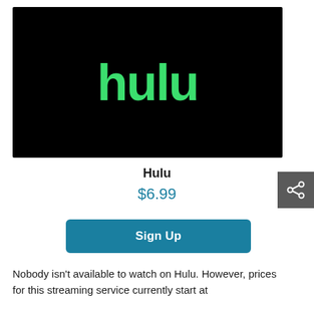[Figure (logo): Hulu logo: green text 'hulu' on black background]
Hulu
$6.99
Sign Up
Nobody isn't available to watch on Hulu. However, prices for this streaming service currently start at